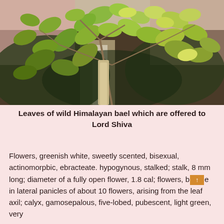[Figure (photo): Close-up photograph of leaves of wild Himalayan bael plant (Aegle marmelos) with green and yellowish-green leaves on branches against a blurred dark background. A light-colored tree trunk is partially visible in the center.]
Leaves of wild Himalayan bael which are offered to Lord Shiva
Flowers, greenish white, sweetly scented, bisexual, actinomorpbic, ebracteate. hypogynous, stalked; stalk, 8 mm long; diameter of a fully open flower, 1.8 cal; flowers, borne in lateral panicles of about 10 flowers, arising from the leaf axil; calyx, gamosepalous, five-lobed, pubescent, light green, very